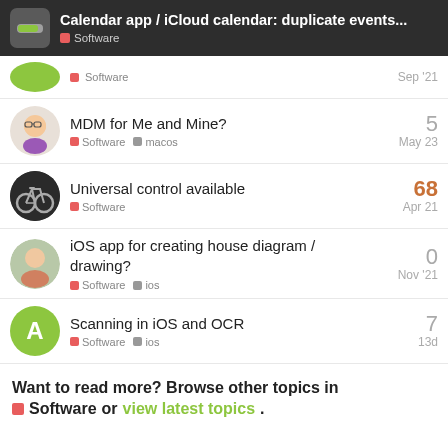Calendar app / iCloud calendar: duplicate events... | Software
Software | Sep '21
MDM for Me and Mine? | Software | macos | 5 | May 23
Universal control available | Software | 68 | Apr 21
iOS app for creating house diagram / drawing? | Software | ios | 0 | Nov '21
Scanning in iOS and OCR | Software | ios | 7 | 13d
Want to read more? Browse other topics in Software or view latest topics.